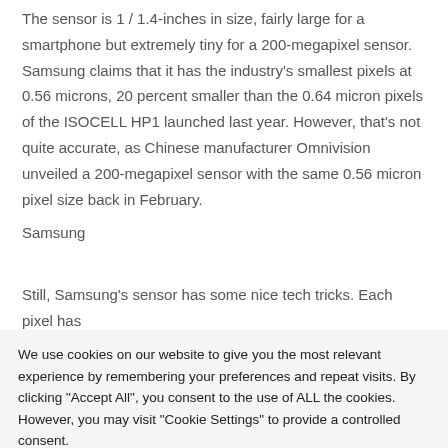The sensor is 1 / 1.4-inches in size, fairly large for a smartphone but extremely tiny for a 200-megapixel sensor. Samsung claims that it has the industry's smallest pixels at 0.56 microns, 20 percent smaller than the 0.64 micron pixels of the ISOCELL HP1 launched last year. However, that's not quite accurate, as Chinese manufacturer Omnivision unveiled a 200-megapixel sensor with the same 0.56 micron pixel size back in February.
Samsung
Still, Samsung's sensor has some nice tech tricks. Each pixel has
We use cookies on our website to give you the most relevant experience by remembering your preferences and repeat visits. By clicking "Accept All", you consent to the use of ALL the cookies. However, you may visit "Cookie Settings" to provide a controlled consent.